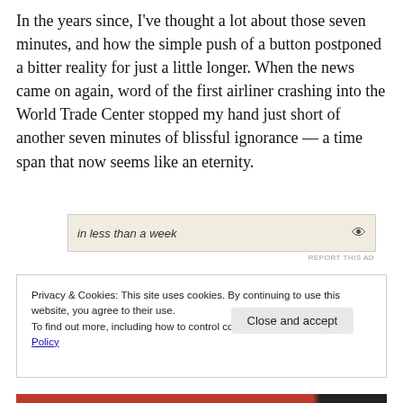In the years since, I've thought a lot about those seven minutes, and how the simple push of a button postponed a bitter reality for just a little longer. When the news came on again, word of the first airliner crashing into the World Trade Center stopped my hand just short of another seven minutes of blissful ignorance — a time span that now seems like an eternity.
[Figure (other): Advertisement banner with text 'in less than a week' and a logo icon on beige background]
REPORT THIS AD
Privacy & Cookies: This site uses cookies. By continuing to use this website, you agree to their use.
To find out more, including how to control cookies, see here: Cookie Policy
Close and accept